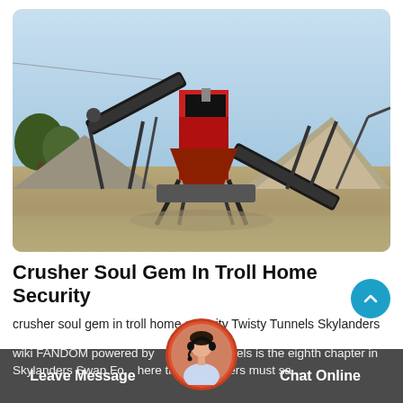[Figure (photo): Outdoor industrial rock crusher / mining equipment with conveyor belts on a dusty site, gravel piles on either side, trees on the left, clear sky background.]
Crusher Soul Gem In Troll Home Security
crusher soul gem in troll home security Twisty Tunnels Skylanders
wiki FANDOM powered by... isty Tunnels is the eighth chapter in Skylanders Swap Fo... here the Skylanders must sa...
Leave Message   Chat Online